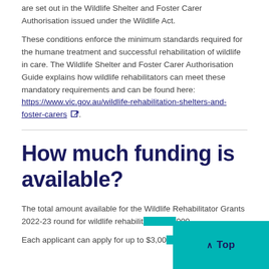are set out in the Wildlife Shelter and Foster Carer Authorisation issued under the Wildlife Act.
These conditions enforce the minimum standards required for the humane treatment and successful rehabilitation of wildlife in care. The Wildlife Shelter and Foster Carer Authorisation Guide explains how wildlife rehabilitators can meet these mandatory requirements and can be found here: https://www.vic.gov.au/wildlife-rehabilitation-shelters-and-foster-carers.
How much funding is available?
The total amount available for the Wildlife Rehabilitator Grants 2022-23 round for wildlife rehabilit...000.
Each applicant can apply for up to $3,00...